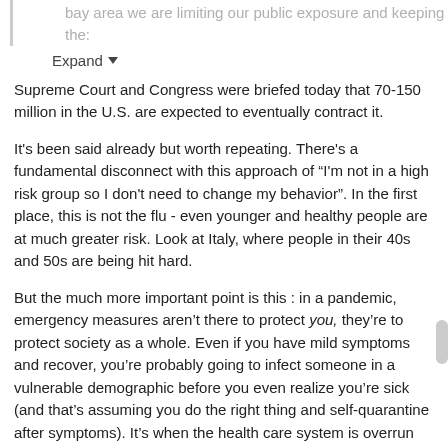bay area we are limiting our public exposure and keeping the:
Expand
Supreme Court and Congress were briefed today that 70-150 million in the U.S. are expected to eventually contract it.
It's been said already but worth repeating. There's a fundamental disconnect with this approach of “I'm not in a high risk group so I don't need to change my behavior”. In the first place, this is not the flu - even younger and healthy people are at much greater risk. Look at Italy, where people in their 40s and 50s are being hit hard.
But the much more important point is this : in a pandemic, emergency measures aren’t there to protect you, they’re to protect society as a whole. Even if you have mild symptoms and recover, you’re probably going to infect someone in a vulnerable demographic before you even realize you’re sick (and that’s assuming you do the right thing and self-quarantine after symptoms). It’s when the health care system is overrun and collapses - as we’re seeing in Italy - that real disaster strikes. That’s what these changes in behavior are intended to forestall.